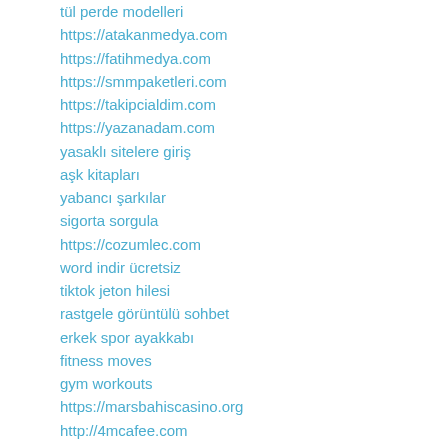tül perde modelleri
https://atakanmedya.com
https://fatihmedya.com
https://smmpaketleri.com
https://takipcialdim.com
https://yazanadam.com
yasaklı sitelere giriş
aşk kitapları
yabancı şarkılar
sigorta sorgula
https://cozumlec.com
word indir ücretsiz
tiktok jeton hilesi
rastgele görüntülü sohbet
erkek spor ayakkabı
fitness moves
gym workouts
https://marsbahiscasino.org
http://4mcafee.com
http://paydayloansonlineare.com
Reply